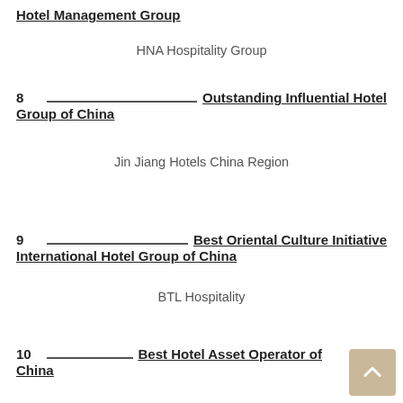Hotel Management Group
HNA Hospitality Group
8  Outstanding Influential Hotel Group of China
Jin Jiang Hotels China Region
9  Best Oriental Culture Initiative International Hotel Group of China
BTL Hospitality
10  Best Hotel Asset Operator of China